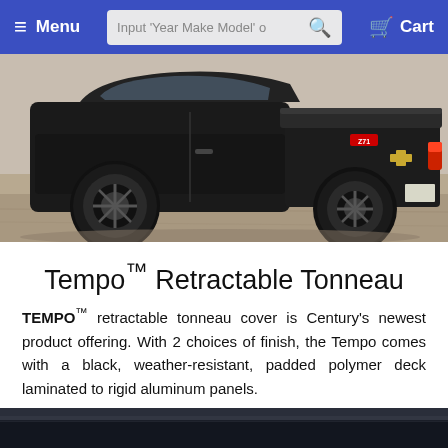Menu | Input 'Year Make Model' o [search] | Cart
[Figure (photo): Black Chevrolet Colorado pickup truck with a retractable tonneau cover, photographed from rear-quarter angle on sandy/dirt ground]
Tempo™ Retractable Tonneau
TEMPO™ retractable tonneau cover is Century's newest product offering. With 2 choices of finish, the Tempo comes with a black, weather-resistant, padded polymer deck laminated to rigid aluminum panels.
[Figure (photo): Close-up detail shot of the tonneau cover surface, dark background]